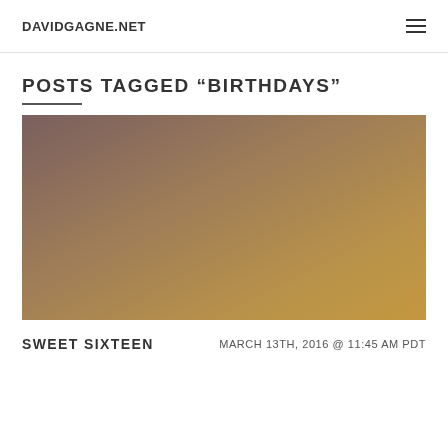DAVIDGAGNE.NET
POSTS TAGGED “BIRTHDAYS”
[Figure (photo): A blurred warm-toned photograph with golden-brown gradient tones, likely an outdoor or sunset scene, used as a featured blog post image.]
SWEET SIXTEEN
MARCH 13TH, 2016 @ 11:45 AM PDT